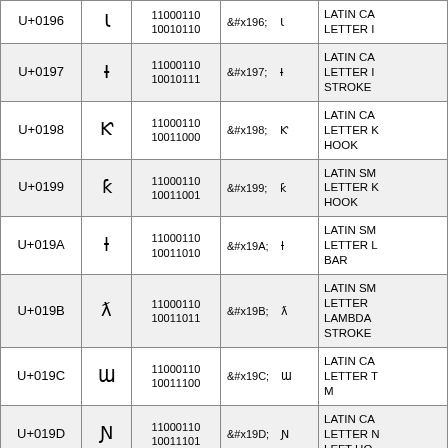| Code | Char | Binary | HTML Entity | Name |
| --- | --- | --- | --- | --- |
| U+0196 | ɖ | 11000110 10010110 | &#x196;   ɖ | LATIN CA... LETTER I... |
| U+0197 | ɗ | 11000110 10010111 | &#x197;   ɗ | LATIN CA... LETTER I... STROKE |
| U+0198 | Ƙ | 11000110 10011000 | &#x198;   Ƙ | LATIN CA... LETTER K... HOOK |
| U+0199 | ƙ | 11000110 10011001 | &#x199;   ƙ | LATIN SM... LETTER K... HOOK |
| U+019A | ƚ | 11000110 10011010 | &#x19A;   ƚ | LATIN SM... LETTER L... BAR |
| U+019B | ƛ | 11000110 10011011 | &#x19B;   ƛ | LATIN SM... LETTER LAMBDA... STROKE |
| U+019C | Ɯ | 11000110 10011100 | &#x19C;   Ɯ | LATIN CA... LETTER T... M |
| U+019D | Ɲ | 11000110 10011101 | &#x19D;   Ɲ | LATIN CA... LETTER N... LEFT HO... |